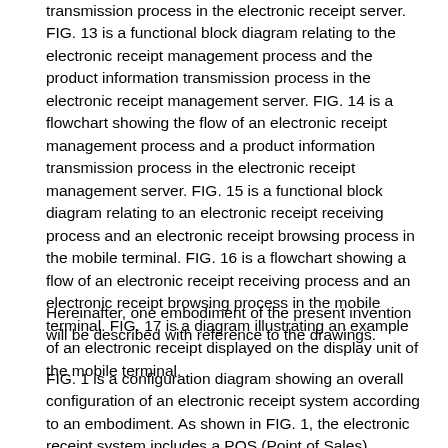transmission process in the electronic receipt server. FIG. 13 is a functional block diagram relating to the electronic receipt management process and the product information transmission process in the electronic receipt management server. FIG. 14 is a flowchart showing the flow of an electronic receipt management process and a product information transmission process in the electronic receipt management server. FIG. 15 is a functional block diagram relating to an electronic receipt receiving process and an electronic receipt browsing process in the mobile terminal. FIG. 16 is a flowchart showing a flow of an electronic receipt receiving process and an electronic receipt browsing process in the mobile terminal. FIG. 17 is a diagram illustrating an example of an electronic receipt displayed on the display unit of the mobile terminal.
Hereinafter, one embodiment of the present invention will be described with reference to the drawings.
FIG. 1 is a configuration diagram showing an overall configuration of an electronic receipt system according to an embodiment. As shown in FIG. 1, the electronic receipt system includes a POS (Point of Sales) terminal 1, a store server 2, an electronic receipt server 3, an electronic